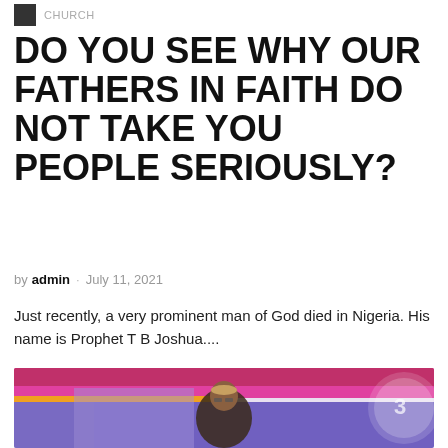CHURCH
DO YOU SEE WHY OUR FATHERS IN FAITH DO NOT TAKE YOU PEOPLE SERIOUSLY?
by admin · July 11, 2021
Just recently, a very prominent man of God died in Nigeria. His name is Prophet T B Joshua....
[Figure (photo): A man wearing traditional attire and glasses standing at a podium or stage with colorful lighting in the background including pink/purple hues and a circular logo or graphic element on the right side.]